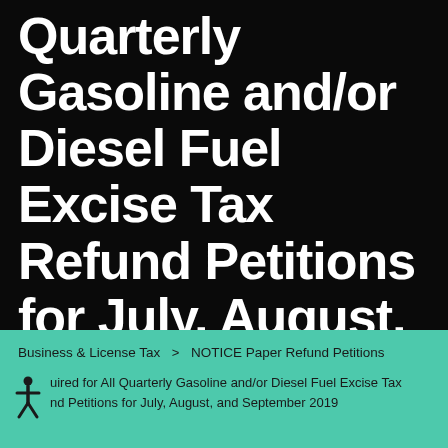Quarterly Gasoline and/or Diesel Fuel Excise Tax Refund Petitions for July, August, and September 2019
Business & License Tax > NOTICE Paper Refund Petitions
uired for All Quarterly Gasoline and/or Diesel Fuel Excise Tax and Petitions for July, August, and September 2019